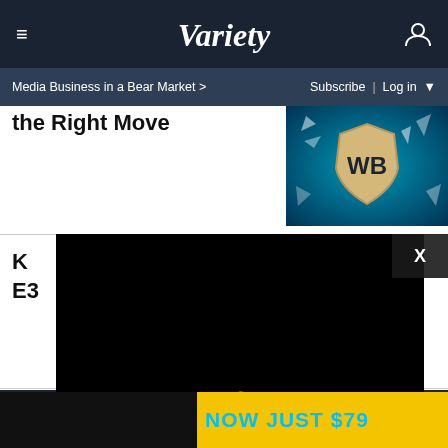VARIETY
Media Business in a Bear Market > | Subscribe | Log in
the Right Move
[Figure (photo): Warner Bros. shield logo on a teal/blue background with shattered glass effect]
K
E3
[Figure (screenshot): Video loading overlay with spinning loading indicator on black background]
S
NOW JUST $79